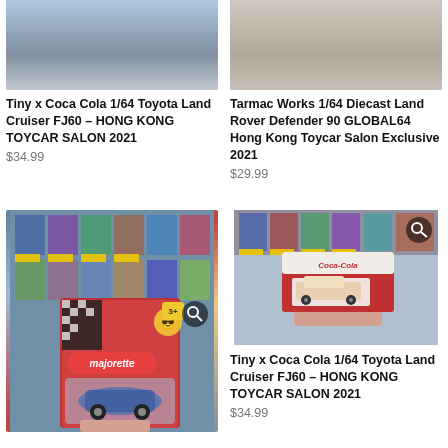[Figure (photo): Top portion of product listing photo for Tiny x Coca Cola Toyota Land Cruiser FJ60, cropped at top]
[Figure (photo): Top portion of product listing photo for Tarmac Works Land Rover Defender 90, cropped at top]
Tiny x Coca Cola 1/64 Toyota Land Cruiser FJ60 – HONG KONG TOYCAR SALON 2021
$34.99
Tarmac Works 1/64 Diecast Land Rover Defender 90 GLOBAL64 Hong Kong Toycar Salon Exclusive 2021
$29.99
[Figure (photo): Hand holding Majorette McLaren Senna diecast toy car in packaging, store shelf background]
[Figure (photo): Hand holding Tiny x Coca Cola Toyota Land Cruiser FJ60 diecast in red packaging, store shelf background]
Tiny x Coca Cola 1/64 Toyota Land Cruiser FJ60 – HONG KONG TOYCAR SALON 2021
$34.99